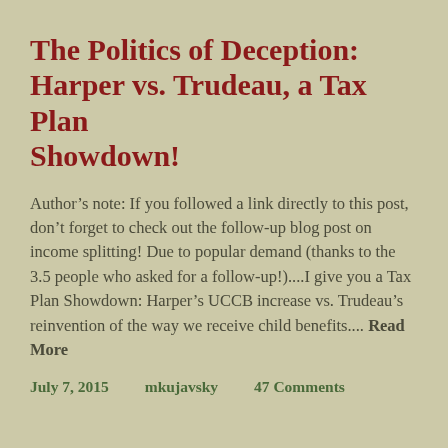The Politics of Deception: Harper vs. Trudeau, a Tax Plan Showdown!
Author’s note: If you followed a link directly to this post, don’t forget to check out the follow-up blog post on income splitting! Due to popular demand (thanks to the 3.5 people who asked for a follow-up!)....I give you a Tax Plan Showdown: Harper’s UCCB increase vs. Trudeau’s reinvention of the way we receive child benefits.... Read More
July 7, 2015     mkujavsky     47 Comments